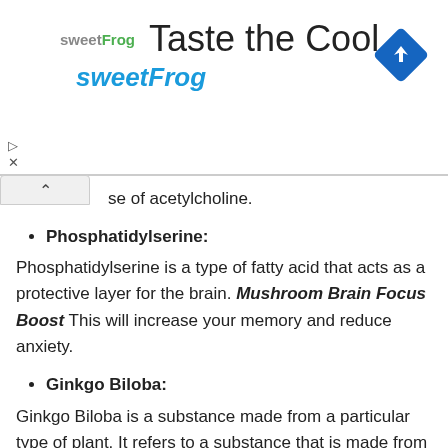[Figure (screenshot): SweetFrog advertisement banner with logo, 'Taste the Cool' title, 'sweetFrog' subtitle in teal, and a blue diamond navigation icon]
se of acetylcholine.
Phosphatidylserine:
Phosphatidylserine is a type of fatty acid that acts as a protective layer for the brain. Mushroom Brain Focus Boost This will increase your memory and reduce anxiety.
Ginkgo Biloba:
Ginkgo Biloba is a substance made from a particular type of plant. It refers to a substance that is made from a particular kind of plant. The Brain Focus Boost supplement contains large amounts of Ginko Biloba per pill.
Acetyl-L-Carnitine:
Acetyl L carnitine is a form of amino acid that also acts as an